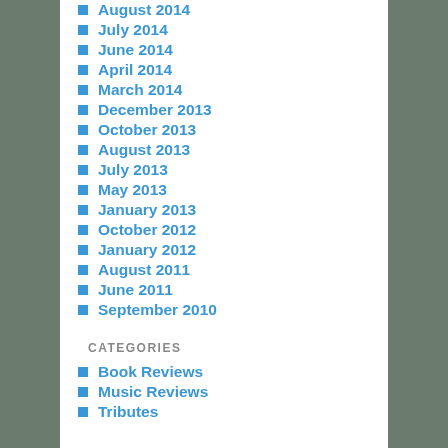August 2014
July 2014
June 2014
April 2014
March 2014
December 2013
October 2013
August 2013
July 2013
May 2013
January 2013
October 2012
January 2012
August 2011
June 2011
September 2010
CATEGORIES
Book Reviews
Music Reviews
Tributes